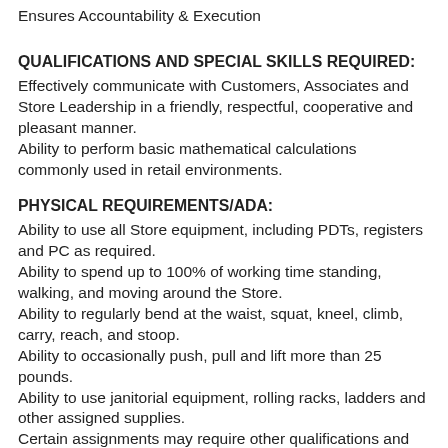Ensures Accountability & Execution
QUALIFICATIONS AND SPECIAL SKILLS REQUIRED:
Effectively communicate with Customers, Associates and Store Leadership in a friendly, respectful, cooperative and pleasant manner.
Ability to perform basic mathematical calculations commonly used in retail environments.
PHYSICAL REQUIREMENTS/ADA:
Ability to use all Store equipment, including PDTs, registers and PC as required.
Ability to spend up to 100% of working time standing, walking, and moving around the Store.
Ability to regularly bend at the waist, squat, kneel, climb, carry, reach, and stoop.
Ability to occasionally push, pull and lift more than 25 pounds.
Ability to use janitorial equipment, rolling racks, ladders and other assigned supplies.
Certain assignments may require other qualifications and skills.
Associates who work Stockroom shifts: Ability to regularly push, pull and lift more than 20 pounds.